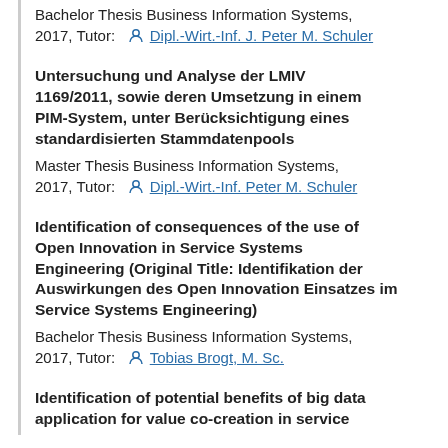Bachelor Thesis Business Information Systems, 2017, Tutor: Dipl.-Wirt.-Inf. J. Peter M. Schuler
Untersuchung und Analyse der LMIV 1169/2011, sowie deren Umsetzung in einem PIM-System, unter Berücksichtigung eines standardisierten Stammdatenpools
Master Thesis Business Information Systems, 2017, Tutor: Dipl.-Wirt.-Inf. Peter M. Schuler
Identification of consequences of the use of Open Innovation in Service Systems Engineering (Original Title: Identifikation der Auswirkungen des Open Innovation Einsatzes im Service Systems Engineering)
Bachelor Thesis Business Information Systems, 2017, Tutor: Tobias Brogt, M. Sc.
Identification of potential benefits of big data application for value co-creation in service